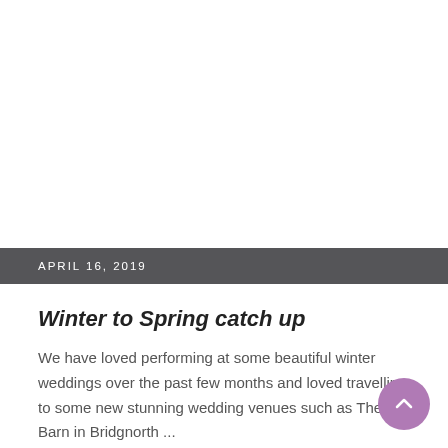APRIL 16, 2019
Winter to Spring catch up
We have loved performing at some beautiful winter weddings over the past few months and loved travelling to some new stunning wedding venues such as The Mill Barn in Bridgnorth ...